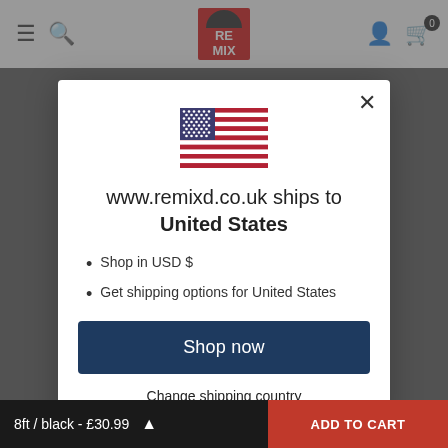www.remixd.co.uk navigation bar with hamburger menu, search, logo, account and cart icons
[Figure (screenshot): US flag emoji displayed in the modal]
www.remixd.co.uk ships to United States
Shop in USD $
Get shipping options for United States
Shop now
Change shipping country
8ft / black - £30.99  ADD TO CART